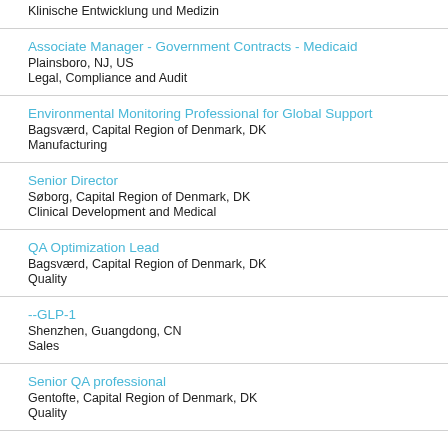Klinische Entwicklung und Medizin
Associate Manager - Government Contracts - Medicaid
Plainsboro, NJ, US
Legal, Compliance and Audit
Environmental Monitoring Professional for Global Support
Bagsværd, Capital Region of Denmark, DK
Manufacturing
Senior Director
Søborg, Capital Region of Denmark, DK
Clinical Development and Medical
QA Optimization Lead
Bagsværd, Capital Region of Denmark, DK
Quality
（中文职位）-销售-GLP-1
Shenzhen, Guangdong, CN
Sales
Senior QA professional
Gentofte, Capital Region of Denmark, DK
Quality